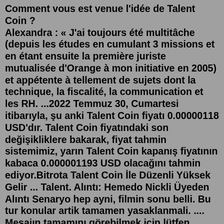Comment vous est venue l'idée de Talent Coin ? Alexandra : « J'ai toujours été multitâche (depuis les études en cumulant 3 missions et en étant ensuite la première juriste mutualisée d'Orange à mon initiative en 2005) et appétente à tellement de sujets dont la technique, la fiscalité, la communication et les RH. ...2022 Temmuz 30, Cumartesi itibarıyla, şu anki Talent Coin fiyatı 0.00000118 USD'dır. Talent Coin fiyatındaki son değişikliklere bakarak, fiyat tahmin sistemimiz, yarın Talent Coin kapanış fiyatının kabaca 0.000001193 USD olacağını tahmin ediyor.Bitrota Talent Coin İle Düzenli Yüksek Gelir ... Talent. Alıntı: Hemedo Nickli Üyeden Alıntı Senaryo hep ayni, filmin sonu belli. Bu tur konular artik tamamen yasaklanmali. .... Mesajın tamamını görebilmek için lütfen buraya tıklayarak üye ...Battle Talent. Battle Talent: Fighter Training Simulator is a VR action game with Advanced Physics that satisfies your Combat Fantasy. Mods can be installed from within the game! Learn more and find the game on Discord, Steam, How to Create Mods.Ömer Ergin